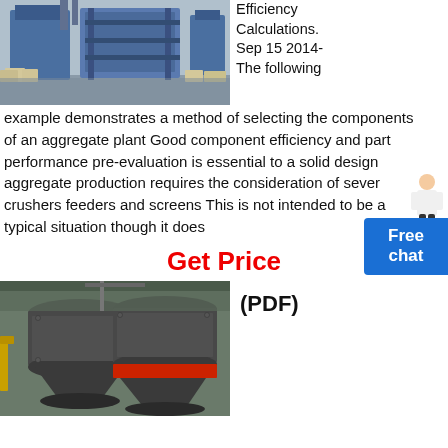[Figure (photo): Industrial aggregate plant machinery with blue equipment and bagged materials in a warehouse setting]
Efficiency Calculations. Sep 15 2014- The following example demonstrates a method of selecting the components of an aggregate plant Good component efficiency and part performance pre-evaluation is essential to a solid design aggregate production requires the consideration of sever crushers feeders and screens This is not intended to be a typical situation though it does
Get Price
(PDF)
[Figure (photo): Two large industrial cone crushers (grey metal cylindrical equipment with red accent band) photographed outdoors]